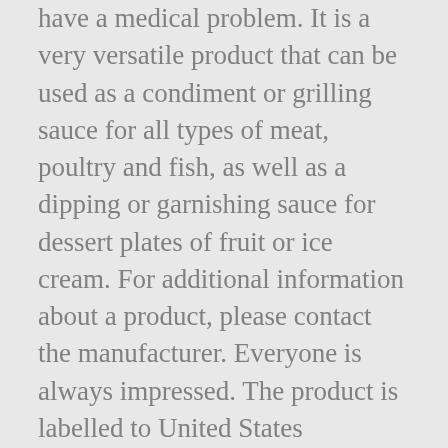have a medical problem. It is a very versatile product that can be used as a condiment or grilling sauce for all types of meat, poultry and fish, as well as a dipping or garnishing sauce for dessert plates of fruit or ice cream. For additional information about a product, please contact the manufacturer. Everyone is always impressed. The product is labelled to United States standards and may differ from similar products sold elsewhere in its ingredients, labeling and allergen warnings, Balsamic Vinegar of Modena ('aceto Balsamico Di Modena I.G.P.') SHOP ONLINE. Balsamic glaze is a boiled and reduced version of balsamic vinegar with a bit of sweetness added to it. Blaze Balsamic Glaze was the first balsamic